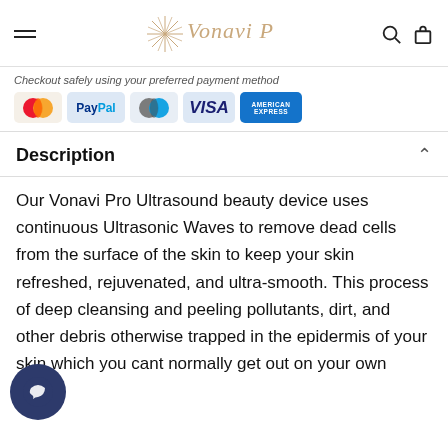Vonavi Pro
Checkout safely using your preferred payment method
[Figure (logo): Payment method icons: MasterCard, PayPal, Maestro, VISA, American Express]
Description
Our Vonavi Pro Ultrasound beauty device uses continuous Ultrasonic Waves to remove dead cells from the surface of the skin to keep your skin refreshed, rejuvenated, and ultra-smooth. This process of deep cleansing and peeling pollutants, dirt, and other debris otherwise trapped in the epidermis of your skin which you cant normally get out on your own